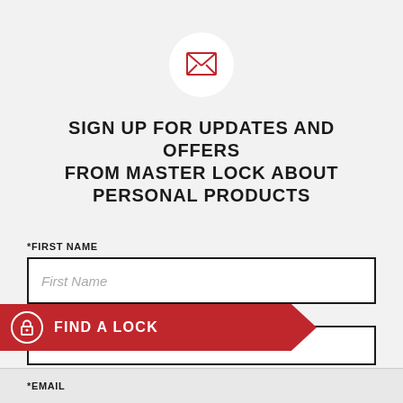[Figure (illustration): Red envelope icon inside a white circular background]
SIGN UP FOR UPDATES AND OFFERS FROM MASTER LOCK ABOUT PERSONAL PRODUCTS
*FIRST NAME
First Name (placeholder)
*ZIP
FIND A LOCK
*EMAIL